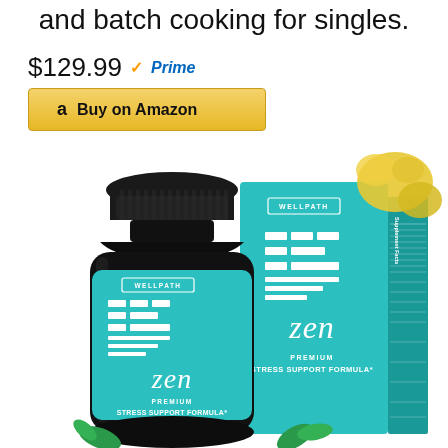and batch cooking for singles.
$129.99 √Prime
Buy on Amazon
[Figure (photo): WellPath Zen Premium Stress Support Formula supplement bottle (dark glass jar with teal label) next to its teal product box, both branded with the Zen logo and WELLPATH text, yellow flowers visible in top-right corner of box]